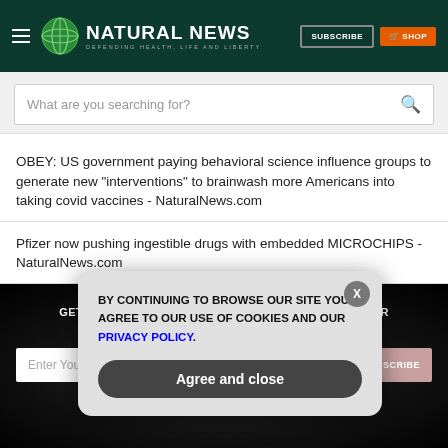Natural News - DEFENDING HEALTH, LIFE AND LIBERTY
What are you searching for?
OBEY: US government paying behavioral science influence groups to generate new “interventions” to brainwash more Americans into taking covid vaccines - NaturalNews.com
Pfizer now pushing ingestible drugs with embedded MICROCHIPS - NaturalNews.com
GET THE WORLD'S BEST NATURAL HEALTH NEWSLETTER DELIVERED STRAIGHT TO YOUR INBOX
Enter Your Email Address
BY CONTINUING TO BROWSE OUR SITE YOU AGREE TO OUR USE OF COOKIES AND OUR PRIVACY POLICY. Agree and close